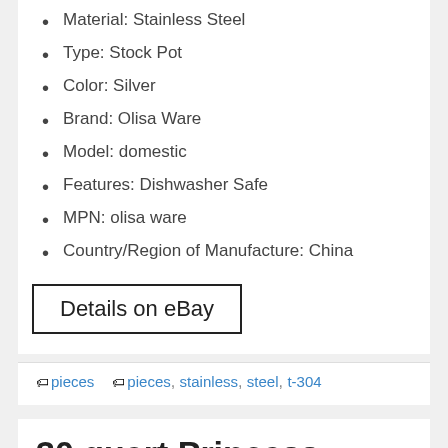Material: Stainless Steel
Type: Stock Pot
Color: Silver
Brand: Olisa Ware
Model: domestic
Features: Dishwasher Safe
MPN: olisa ware
Country/Region of Manufacture: China
Details on eBay
pieces   pieces, stainless, steel, t-304
30 quart Princess House stainless steel pot